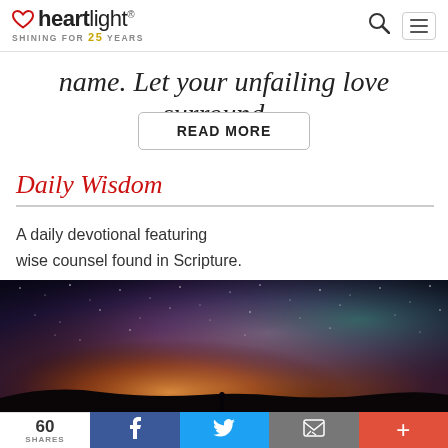heartlight® — SHINING FOR 25 YEARS
name. Let your unfailing love surround...
READ MORE
Daily Wisdom
A daily devotional featuring wise counsel found in Scripture.
[Figure (photo): Night sky with Milky Way galaxy and silhouette of a person standing on the ground, colorful starscape with orange and purple hues]
60 SHARES